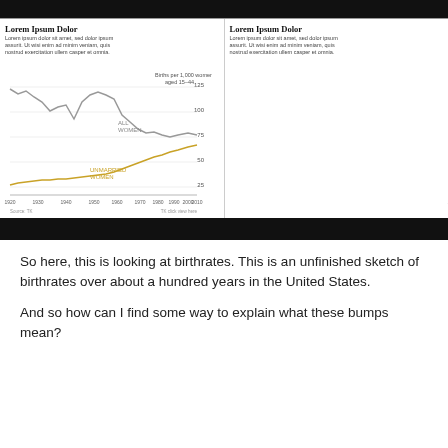[Figure (line-chart): Two line charts side by side showing birthrates over about 100 years in the US. Left chart shows births per 1,000 women aged 15-44, with lines for 'ALL WOMEN' (gray) and 'UNMARRIED WOMEN' (gold/yellow). Right chart shows number of births in millions with same two series. X-axis spans 1920-2010 (left) and 1920-2010 (right).]
So here, this is looking at birthrates. This is an unfinished sketch of birthrates over about a hundred years in the United States.
And so how can I find some way to explain what these bumps mean?